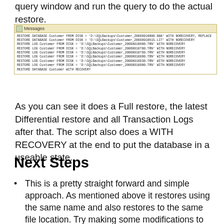query window and run the query to do the actual restore.
[Figure (screenshot): SQL Server Messages tab showing RESTORE DATABASE and RESTORE LOG commands with NORECOVERY and final RESTORE DATABASE Customer WITH RECOVERY]
As you can see it does a Full restore, the latest Differential restore and all Transaction Logs after that.  The script also does a WITH RECOVERY at the end to put the database in a useable state.
Next Steps
This is a pretty straight forward and simple approach.  As mentioned above it restores using the same name and also restores to the same file location.  Try making some modifications to restore it to another database name as well as restoring the files to a different location